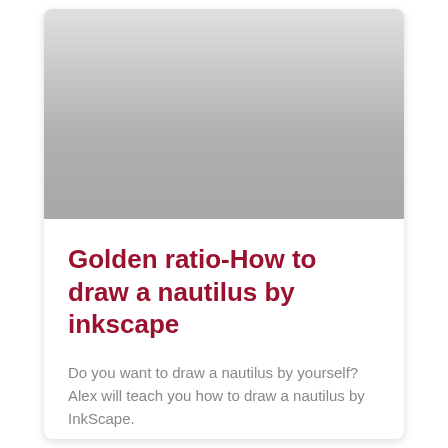[Figure (illustration): A gray gradient rectangle representing a placeholder image area at the top of a card, transitioning from light gray at top to medium gray at bottom.]
Golden ratio-How to draw a nautilus by inkscape
Do you want to draw a nautilus by yourself? Alex will teach you how to draw a nautilus by InkScape.